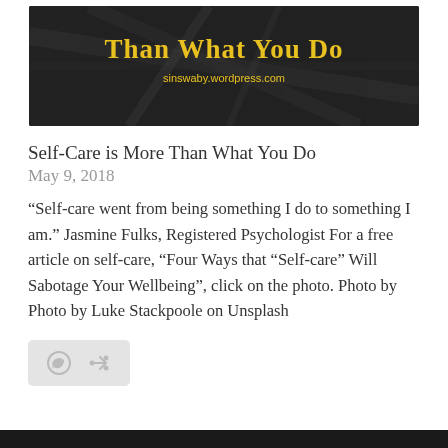[Figure (illustration): Banner image with dark background and yellow bold text reading 'Than What You Do' with subtitle 'sinswaby.wordpress.com']
Self-Care is More Than What You Do
May 9, 2018
“Self-care went from being something I do to something I am.” Jasmine Fulks, Registered Psychologist For a free article on self-care, “Four Ways that “Self-care” Will Sabotage Your Wellbeing”, click on the photo. Photo by Photo by Luke Stackpoole on Unsplash
[Figure (screenshot): Action bar with comment icon and share icon on a light gray background]
[Figure (photo): Dark bottom strip visible at page bottom]